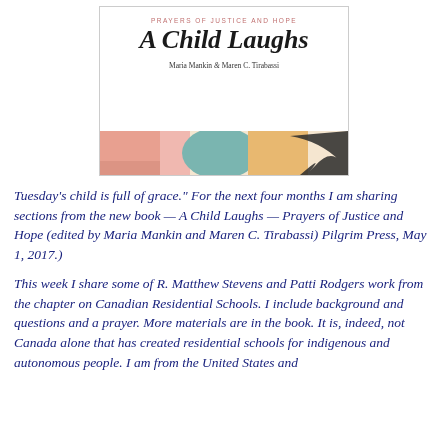[Figure (illustration): Book cover for 'A Child Laughs — Prayers of Justice and Hope' by Maria Mankin and Maren C. Tirabassi, showing the title in italic script with a colorful abstract art strip at the bottom.]
Tuesday's child is full of grace." For the next four months I am sharing sections from the new book — A Child Laughs — Prayers of Justice and Hope (edited by Maria Mankin and Maren C. Tirabassi) Pilgrim Press, May 1, 2017.)
This week I share some of R. Matthew Stevens and Patti Rodgers work from the chapter on Canadian Residential Schools. I include background and questions and a prayer. More materials are in the book. It is, indeed, not Canada alone that has created residential schools for indigenous and autonomous people. I am from the United States and